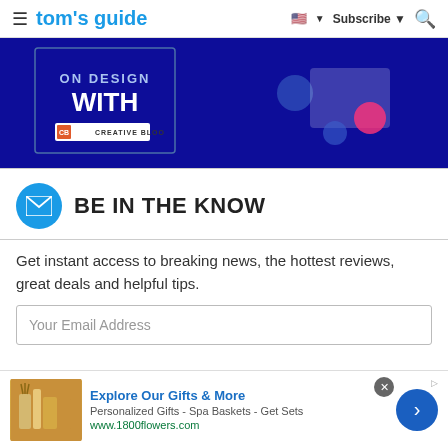tom's guide | Subscribe
[Figure (screenshot): Dark blue advertisement banner with text 'ON DESIGN WITH' and Creative Bloo logo, featuring illustrated figures and UI mockup graphics]
BE IN THE KNOW
Get instant access to breaking news, the hottest reviews, great deals and helpful tips.
[Figure (screenshot): Advertisement bar at bottom: Explore Our Gifts & More - Personalized Gifts - Spa Baskets - Get Sets - www.1800flowers.com, with product image of spa/gift items]